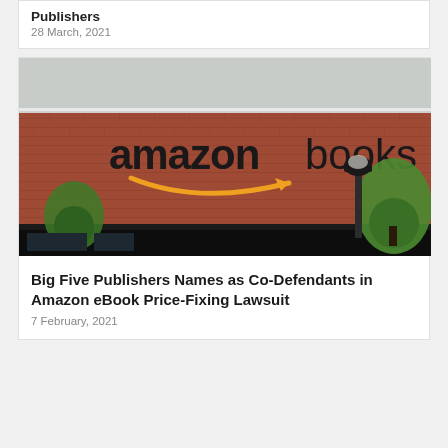Publishers
28 March, 2021
[Figure (photo): Exterior photo of an Amazon Books retail store, showing a red brick building facade with 'amazon books' sign and yellow arrow logo. Trees and a street lamp visible in foreground.]
Big Five Publishers Names as Co-Defendants in Amazon eBook Price-Fixing Lawsuit
7 February, 2021